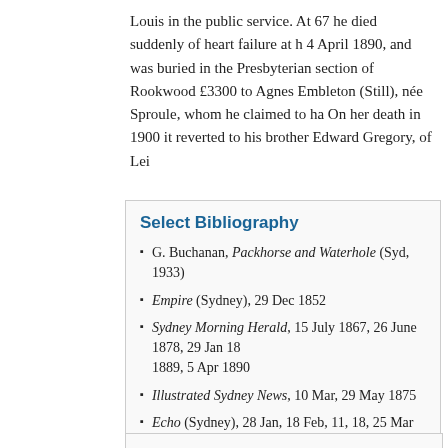Louis in the public service. At 67 he died suddenly of heart failure at h... 4 April 1890, and was buried in the Presbyterian section of Rookwood... £3300 to Agnes Embleton (Still), née Sproule, whom he claimed to ha... On her death in 1900 it reverted to his brother Edward Gregory, of Lei...
Select Bibliography
G. Buchanan, Packhorse and Waterhole (Syd, 1933)
Empire (Sydney), 29 Dec 1852
Sydney Morning Herald, 15 July 1867, 26 June 1878, 29 Jan 18... 1889, 5 Apr 1890
Illustrated Sydney News, 10 Mar, 29 May 1875
Echo (Sydney), 28 Jan, 18 Feb, 11, 18, 25 Mar 1878, 29 Apr, 5,
Bulletin, 5 Mar 1881, 2 June 1883
Sydney Mail, 12 Apr 1890
printed catalogue under Buchanan (State Library of New South...
manuscript catalogue under Buchanan (State Library of New So...